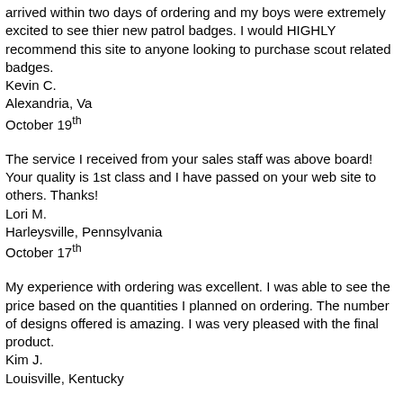arrived within two days of ordering and my boys were extremely excited to see thier new patrol badges. I would HIGHLY recommend this site to anyone looking to purchase scout related badges.
Kevin C.
Alexandria, Va
October 19th
The service I received from your sales staff was above board! Your quality is 1st class and I have passed on your web site to others. Thanks!
Lori M.
Harleysville, Pennsylvania
October 17th
My experience with ordering was excellent. I was able to see the price based on the quantities I planned on ordering. The number of designs offered is amazing. I was very pleased with the final product.
Kim J.
Louisville, Kentucky